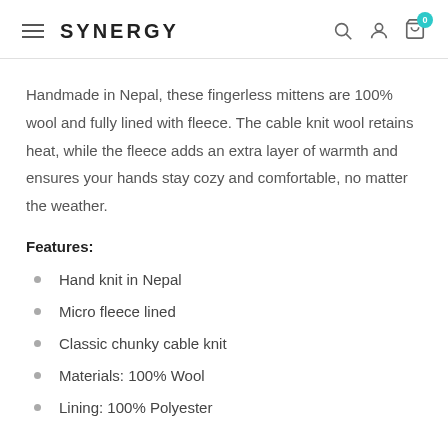SYNERGY
Handmade in Nepal, these fingerless mittens are 100% wool and fully lined with fleece. The cable knit wool retains heat, while the fleece adds an extra layer of warmth and ensures your hands stay cozy and comfortable, no matter the weather.
Features:
Hand knit in Nepal
Micro fleece lined
Classic chunky cable knit
Materials: 100% Wool
Lining: 100% Polyester